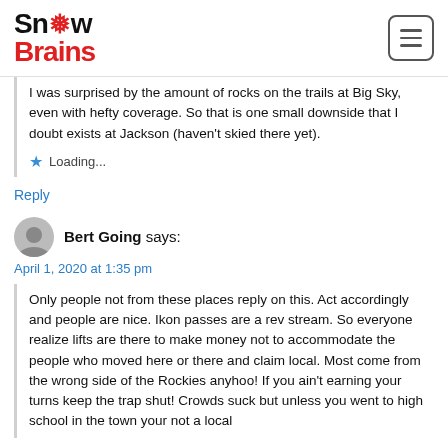SnowBrains
I was surprised by the amount of rocks on the trails at Big Sky, even with hefty coverage. So that is one small downside that I doubt exists at Jackson (haven't skied there yet).
Loading...
Reply
Bert Going says:
April 1, 2020 at 1:35 pm
Only people not from these places reply on this. Act accordingly and people are nice. Ikon passes are a rev stream. So everyone realize lifts are there to make money not to accommodate the people who moved here or there and claim local. Most come from the wrong side of the Rockies anyhoo! If you ain't earning your turns keep the trap shut! Crowds suck but unless you went to high school in the town your not a local